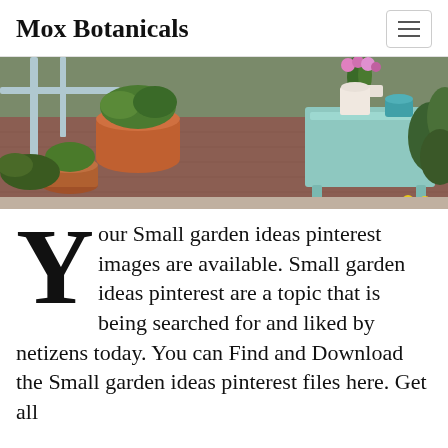Mox Botanicals
[Figure (photo): Outdoor garden patio with terracotta plant pots filled with green plants and flowers, a light blue/mint side table with pink flowers in a vase on top, and yellow flowers in the foreground, set on a brick/paved surface]
Your Small garden ideas pinterest images are available. Small garden ideas pinterest are a topic that is being searched for and liked by netizens today. You can Find and Download the Small garden ideas pinterest files here. Get all